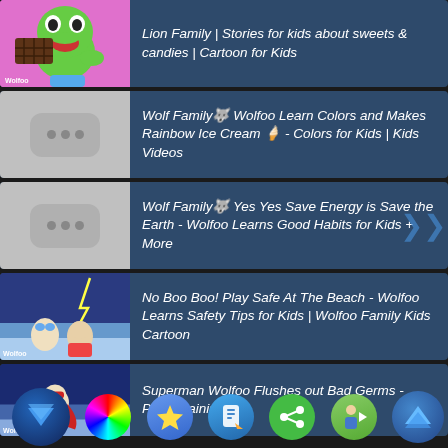[Figure (screenshot): Video list row 1: Thumbnail showing animated frog character eating chocolate bar on pink background. Title: Lion Family | Stories for kids about sweets & candies | Cartoon for Kids]
Lion Family | Stories for kids about sweets & candies | Cartoon for Kids
[Figure (screenshot): Video list row 2: Grey placeholder thumbnail with three dots. Title: Wolf Family🐺 Wolfoo Learn Colors and Makes Rainbow Ice Cream 🍦 - Colors for Kids | Kids Videos]
Wolf Family🐺 Wolfoo Learn Colors and Makes Rainbow Ice Cream 🍦 - Colors for Kids | Kids Videos
[Figure (screenshot): Video list row 3: Grey placeholder thumbnail with three dots. Title: Wolf Family🐺 Yes Yes Save Energy is Save the Earth - Wolfoo Learns Good Habits for Kids + More]
Wolf Family🐺 Yes Yes Save Energy is Save the Earth - Wolfoo Learns Good Habits for Kids + More
[Figure (screenshot): Video list row 4: Thumbnail showing animated characters at a beach with storm. Title: No Boo Boo! Play Safe At The Beach - Wolfoo Learns Safety Tips for Kids | Wolfoo Family Kids Cartoon]
No Boo Boo! Play Safe At The Beach - Wolfoo Learns Safety Tips for Kids | Wolfoo Family Kids Cartoon
[Figure (screenshot): Video list row 5: Thumbnail showing Superman Wolfoo character. Title: Superman Wolfoo Flushes out Bad Germs - Potty Training |]
Superman Wolfoo Flushes out Bad Germs - Potty Training |
[Figure (screenshot): Bottom navigation toolbar with 7 icon buttons: dark blue arrow-down, color wheel, star, pencil/app, share (green), man/forward, blue arrow-up]